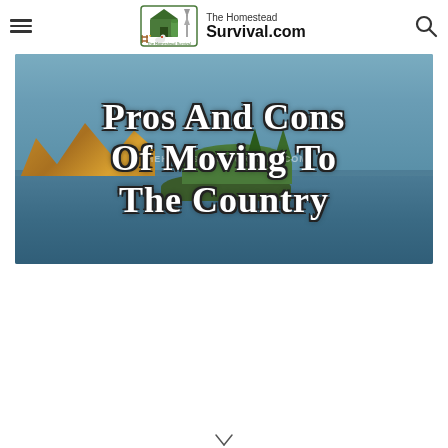The Homestead Survival.com
[Figure (illustration): Hero banner image with scenic lake and autumn trees background, overlaid with large white outlined text reading 'Pros and Cons of Moving to the Country' and a watermark 'TheHomesteadSurvival.Com']